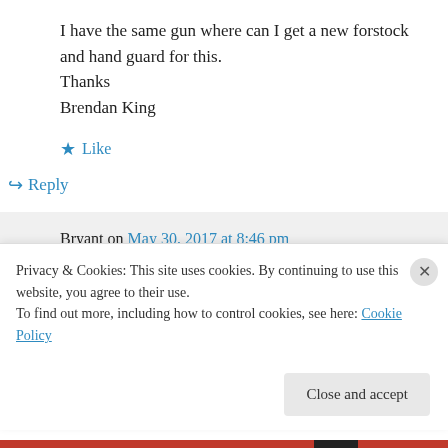I have the same gun where can I get a new forstock and hand guard for this.
Thanks
Brendan King
★ Like
↪ Reply
Bryant on May 30, 2017 at 8:46 pm
Privacy & Cookies: This site uses cookies. By continuing to use this website, you agree to their use.
To find out more, including how to control cookies, see here: Cookie Policy
Close and accept